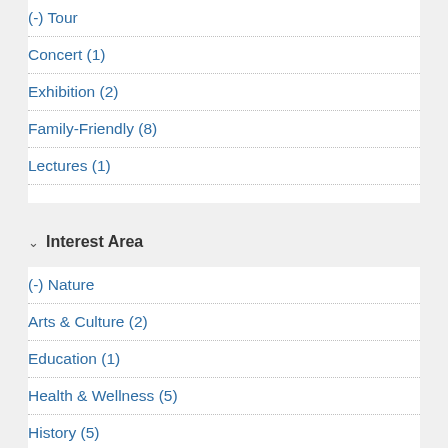(-) Tour
Concert (1)
Exhibition (2)
Family-Friendly (8)
Lectures (1)
Interest Area
(-) Nature
Arts & Culture (2)
Education (1)
Health & Wellness (5)
History (5)